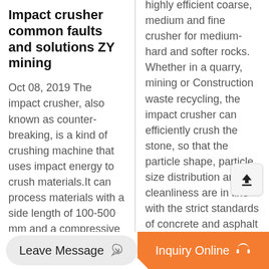Impact crusher common faults and solutions ZY mining
Oct 08, 2019 The impact crusher, also known as counter-breaking, is a kind of crushing machine that uses impact energy to crush materials.It can process materials with a side length of 100-500 mm and a compressive strength of up to 350 MPa. It has the advantages of large
highly efficient coarse, medium and fine crusher for medium-hard and softer rocks. Whether in a quarry, mining or Construction waste recycling, the impact crusher can efficiently crush the stone, so that the particle shape, particle size distribution and cleanliness are in line with the strict standards of concrete and asphalt aggregate.